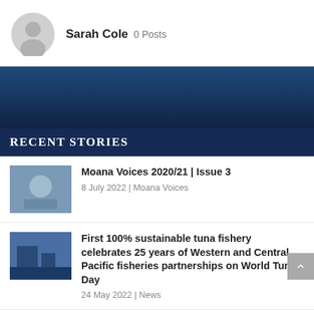[Figure (photo): User avatar placeholder icon (gray silhouette)]
Sarah Cole 0 Posts
[Figure (photo): Dark navy blue banner image]
RECENT STORIES
[Figure (photo): Thumbnail photo of a person for Moana Voices article]
Moana Voices 2020/21 | Issue 3
8 July 2022 | Moana Voices
[Figure (photo): Thumbnail photo of a ship/port for tuna fishery article]
First 100% sustainable tuna fishery celebrates 25 years of Western and Central Pacific fisheries partnerships on World Tuna Day
24 May 2022 | News
[Figure (photo): Thumbnail photo of a person working for Pacific Sunrise article]
Pacific Sunrise battles on through challenges
24 May 2022 | News